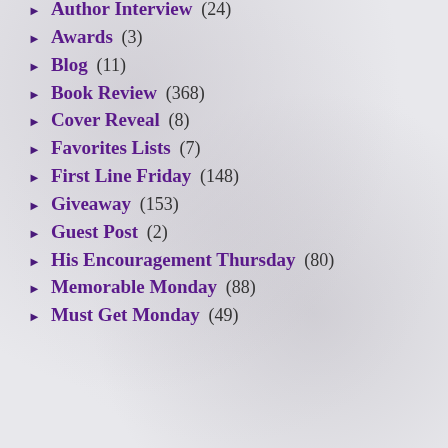Author Interview (24)
Awards (3)
Blog (11)
Book Review (368)
Cover Reveal (8)
Favorites Lists (7)
First Line Friday (148)
Giveaway (153)
Guest Post (2)
His Encouragement Thursday (80)
Memorable Monday (88)
Must Get Monday (49)